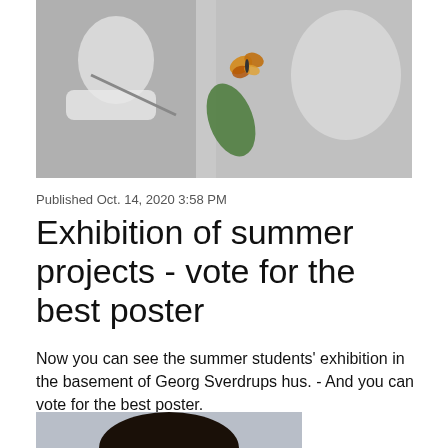[Figure (photo): Black and white photo of two children; one on the left holding a paintbrush with white gloves, and one on the right looking at a green leaf with a colorful butterfly on it.]
Published Oct. 14, 2020 3:58 PM
Exhibition of summer projects - vote for the best poster
Now you can see the summer students' exhibition in the basement of Georg Sverdrups hus. - And you can vote for the best poster.
[Figure (photo): Partial photo of a person with dark curly hair, cropped at the bottom of the page, light blue/grey background.]